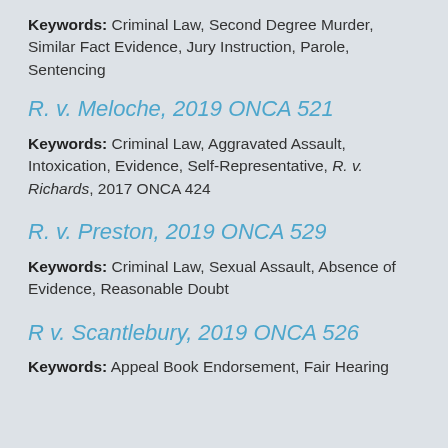Keywords: Criminal Law, Second Degree Murder, Similar Fact Evidence, Jury Instruction, Parole, Sentencing
R. v. Meloche, 2019 ONCA 521
Keywords: Criminal Law, Aggravated Assault, Intoxication, Evidence, Self-Representative, R. v. Richards, 2017 ONCA 424
R. v. Preston, 2019 ONCA 529
Keywords: Criminal Law, Sexual Assault, Absence of Evidence, Reasonable Doubt
R v. Scantlebury, 2019 ONCA 526
Keywords: Appeal Book Endorsement, Fair Hearing